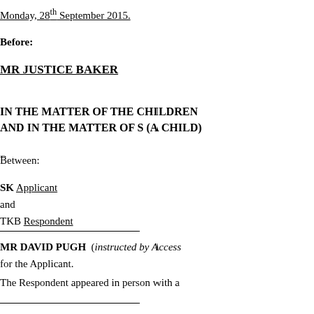Monday, 28th September 2015.
Before:
MR JUSTICE BAKER
IN THE MATTER OF THE CHILDREN AND IN THE MATTER OF S (A CHILD)
Between:
SK Applicant
and
TKB Respondent
MR DAVID PUGH  (instructed by Access) for the Applicant.
The Respondent appeared in person with a
Digital Tape Transcription by:
John Larking Verbatim Reporters
(Verbatim Reporters and Tape Transcribers)
Suite 305 Temple Chambers, 3-7 Temple Av
Tel:  020 7404 7464    DX: 13 Chancery